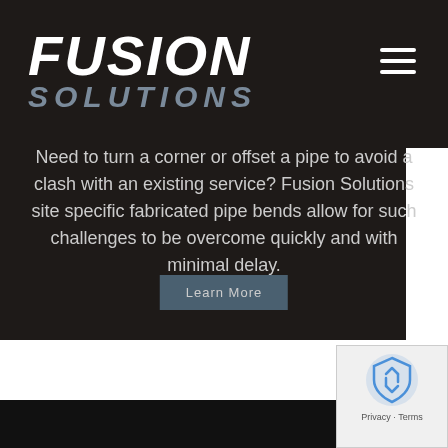[Figure (logo): Fusion Solutions logo with 'FUSION' in white italic bold text and 'SOLUTIONS' in gray italic text below]
[Figure (infographic): Hamburger menu icon with three horizontal white lines]
Need to turn a corner or offset a pipe to avoid a clash with an existing service? Fusion Solutions site specific fabricated pipe bends allow for such challenges to be overcome quickly and with minimal delay.
[Figure (other): Learn More button — steel blue rectangular button with 'Learn More' text]
[Figure (other): reCAPTCHA badge with Google reCAPTCHA icon and Privacy/Terms links]